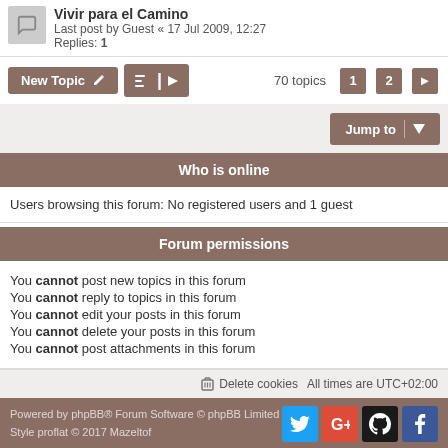Vivir para el Camino
Last post by Guest « 17 Jul 2009, 12:27
Replies: 1
New Topic   [sort/filter buttons]   70 topics  1  2  ▶
Jump to
Who is online
Users browsing this forum: No registered users and 1 guest
Forum permissions
You cannot post new topics in this forum
You cannot reply to topics in this forum
You cannot edit your posts in this forum
You cannot delete your posts in this forum
You cannot post attachments in this forum
Delete cookies   All times are UTC+02:00
Powered by phpBB® Forum Software © phpBB Limited
Style proflat © 2017 Mazeltof